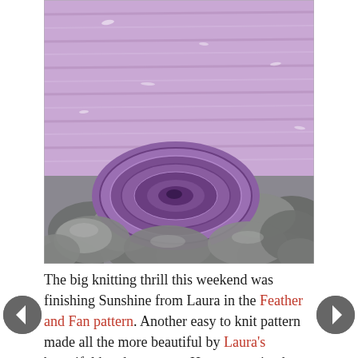[Figure (photo): A purple/lavender knitted scarf or shawl rolled up and resting on smooth grey river stones, photographed outdoors.]
The big knitting thrill this weekend was finishing Sunshine from Laura in the Feather and Fan pattern. Another easy to knit pattern made all the more beautiful by Laura's beautiful handspun yarn. Her yarn arrived on my doorstep this winter at just the time I needed a little sunshine. I'm so